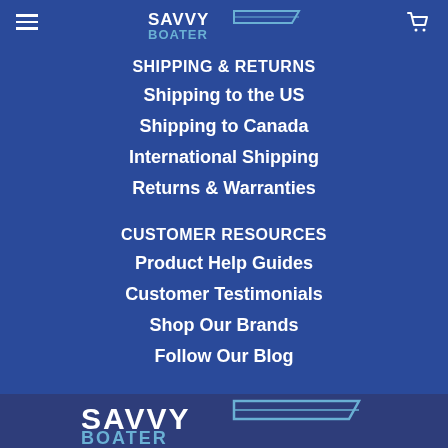[Figure (logo): SavvyBoater logo at top center with hamburger menu icon on left and cart icon on right]
SHIPPING & RETURNS
Shipping to the US
Shipping to Canada
International Shipping
Returns & Warranties
CUSTOMER RESOURCES
Product Help Guides
Customer Testimonials
Shop Our Brands
Follow Our Blog
[Figure (logo): SavvyBoater logo at bottom of page]